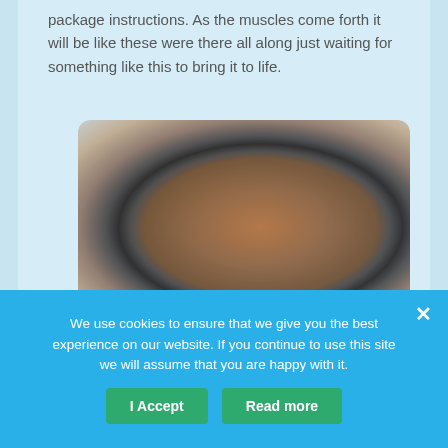package instructions. As the muscles come forth it will be like these were there all along just waiting for something like this to bring it to life.
[Figure (photo): A close-up photograph of a person's midsection wearing black shorts, with a hand gripping the side, showing toned abdominal and hip muscles.]
We use cookies to ensure that we give you the best experience on our website. If you continue to use this site we will assume that you are happy with it.
I Accept
Read more